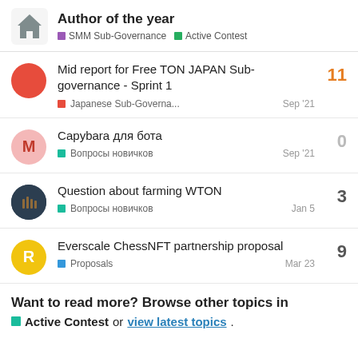Author of the year — SMM Sub-Governance | Active Contest
Mid report for Free TON JAPAN Sub-governance - Sprint 1 | Japanese Sub-Governa... | Sep '21 | 11 replies
Сарybara для бота | Вопросы новичков | Sep '21 | 0 replies
Question about farming WTON | Вопросы новичков | Jan 5 | 3 replies
Everscale ChessNFT partnership proposal | Proposals | Mar 23 | 9 replies
Want to read more? Browse other topics in Active Contest or view latest topics.